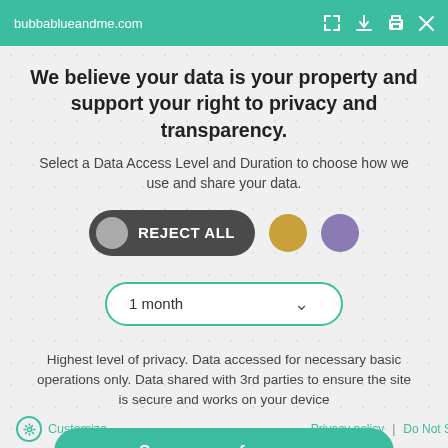bubbablueandme.com
We believe your data is your property and support your right to privacy and transparency.
Select a Data Access Level and Duration to choose how we use and share your data.
[Figure (infographic): Three consent level options: a dark pill-shaped 'REJECT ALL' toggle button with grey circle on left, a gold circle option, and a purple circle option. Below is a dropdown showing '1 month' with a chevron.]
Highest level of privacy. Data accessed for necessary basic operations only. Data shared with 3rd parties to ensure the site is secure and works on your device
Save my preferences
Customize   Privacy policy  |  Do Not Sell